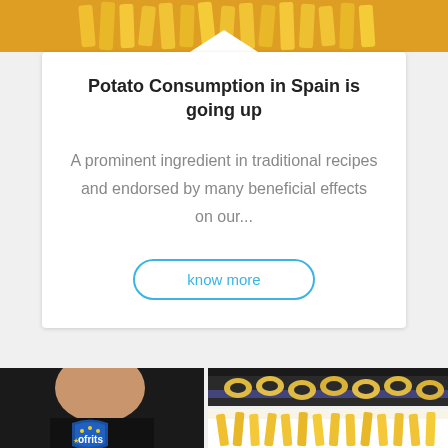[Figure (photo): Top portion of a photo showing fried potato products including fries and possibly fried snacks on a light background]
Potato Consumption in Spain is going up
A prominent ingredient in traditional recipes and endorsed by many beneficial effects on our...
know more
[Figure (photo): Close-up of a person holding or wearing something with the 'ofrits' logo/brand on a dark background]
[Figure (photo): Potato snack pieces (ring or curl shaped) on a dark tray]
[Figure (photo): French fries on a white plate or surface]